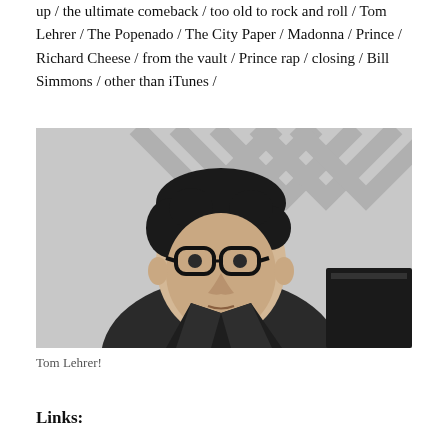up / the ultimate comeback / too old to rock and roll / Tom Lehrer / The Popenado / The City Paper / Madonna / Prince / Richard Cheese / from the vault / Prince rap / closing / Bill Simmons / other than iTunes /
[Figure (photo): Black and white photograph of Tom Lehrer, a man wearing thick-rimmed glasses and a suit, seated at what appears to be a piano, with a chevron-patterned wall in the background.]
Tom Lehrer!
Links: